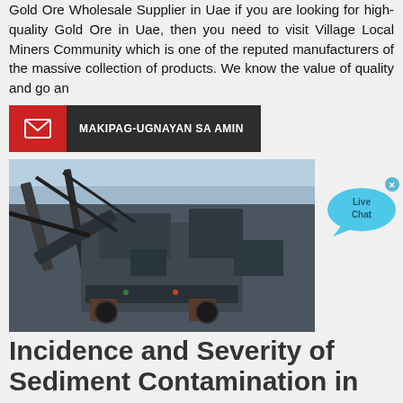Gold Ore Wholesale Supplier in Uae if you are looking for high-quality Gold Ore in Uae, then you need to visit Village Local Miners Community which is one of the reputed manufacturers of the massive collection of products. We know the value of quality and go an
[Figure (infographic): Red and dark grey contact button bar with envelope icon and text MAKIPAG-UGNAYAN SA AMIN]
[Figure (photo): Photo of large industrial mining equipment / rock crusher machinery outdoors against a light blue sky]
[Figure (infographic): Live Chat speech bubble widget in blue/cyan positioned at top right of image]
Incidence and Severity of Sediment Contamination in